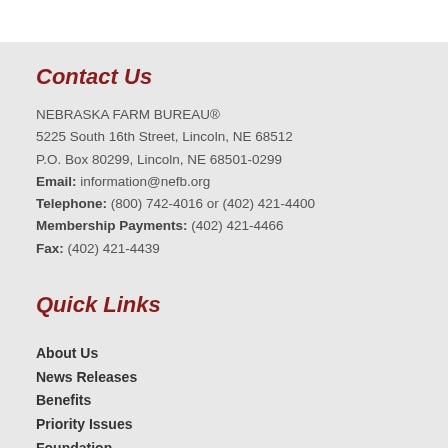Contact Us
NEBRASKA FARM BUREAU®
5225 South 16th Street, Lincoln, NE 68512
P.O. Box 80299, Lincoln, NE 68501-0299
Email: information@nefb.org
Telephone: (800) 742-4016 or (402) 421-4400
Membership Payments: (402) 421-4466
Fax: (402) 421-4439
Quick Links
About Us
News Releases
Benefits
Priority Issues
Foundation